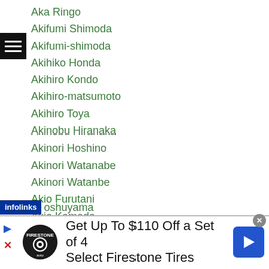Aka Ringo
Akifumi Shimoda
Akifumi-shimoda
Akihiko Honda
Akihiro Kondo
Akihiro-matsumoto
Akihiro Toya
Akinobu Hiranaka
Akinori Hoshino
Akinori Watanabe
Akinori Watanbe
Akio Furutani
Akio Kameda
Akio-maki
Akio Shibata
...oshuyama
[Figure (screenshot): Advertisement banner: Get Up To $110 Off a Set of 4 Select Firestone Tires, with Firestone logo and navigation arrow icon]